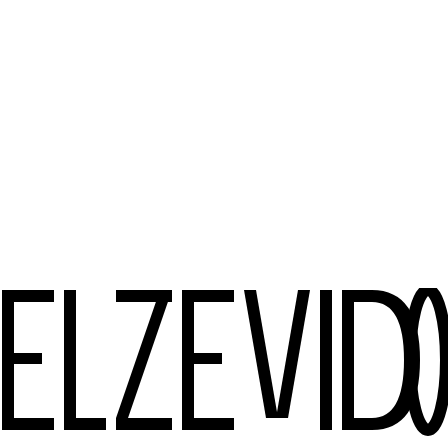[Figure (logo): ELZEVIDO logo in large, bold, condensed sans-serif lettering, partially cropped at the bottom of the page. The letters are black on a white background, rendered in a distinctive geometric art-deco style.]